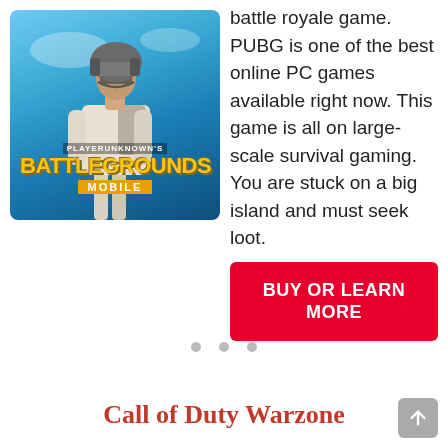[Figure (photo): PUBG Mobile game cover art showing a soldier in military helmet and gear against a blue sky background, with 'PLAYERUNKNOWN'S BATTLEGROUNDS MOBILE' logo]
battle royale game. PUBG is one of the best online PC games available right now. This game is all on large-scale survival gaming. You are stuck on a big island and must seek loot.
BUY OR LEARN MORE
Call of Duty Warzone